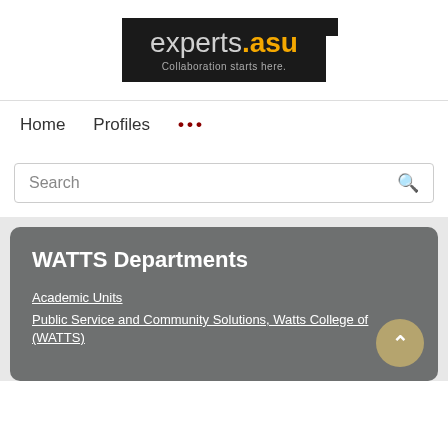[Figure (logo): experts.asu logo on black background with tagline 'Collaboration starts here.']
Home
Profiles
...
Search
WATTS Departments
Academic Units
Public Service and Community Solutions, Watts College of (WATTS)